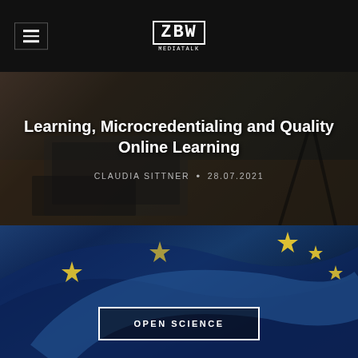[Figure (screenshot): Navigation bar with hamburger menu icon on the left and ZBW MEDIATALK logo centered on black background]
[Figure (photo): Hero image of person working at laptop, darkened overlay, with article title and author metadata]
Learning, Microcredentialing and Quality Online Learning
CLAUDIA SITTNER • 28.07.2021
[Figure (photo): EU flag background image (blue with yellow stars), partially visible, with 'OPEN SCIENCE' button overlay at bottom center]